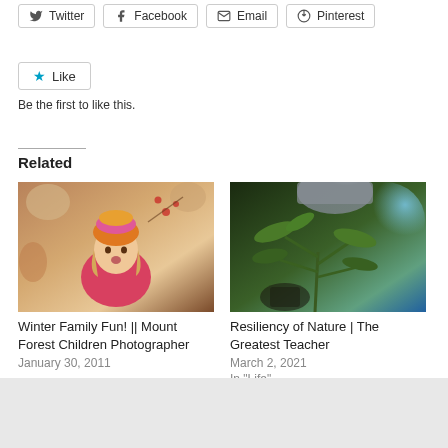Twitter
Facebook
Email
Pinterest
Like
Be the first to like this.
Related
[Figure (photo): Young child wearing a colorful knit hat outdoors in winter]
Winter Family Fun! || Mount Forest Children Photographer
January 30, 2011
[Figure (photo): Plant with green leaves under blue glowing light]
Resiliency of Nature | The Greatest Teacher
March 2, 2021
In "Life"
Advertisements
[Figure (screenshot): DuckDuckGo advertisement: Search, browse, and email with more privacy. All in One Free App]